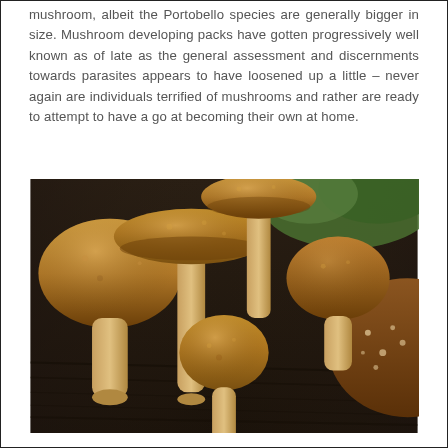mushroom, albeit the Portobello species are generally bigger in size. Mushroom developing packs have gotten progressively well known as of late as the general assessment and discernments towards parasites appears to have loosened up a little – never again are individuals terrified of mushrooms and rather are ready to attempt to have a go at becoming their own at home.
[Figure (photo): A close-up photograph of several brown mushrooms (shiitake-style) arranged on a dark wooden surface, with green foliage visible in the background. The mushrooms have textured caps ranging from young closed specimens to more mature open ones.]